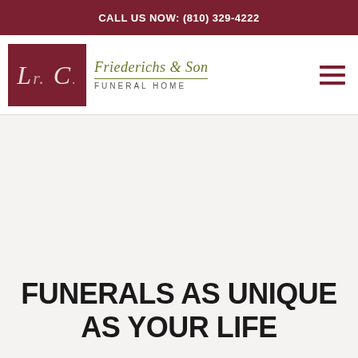CALL US NOW: (810) 329-4222
[Figure (logo): L.C. Friederichs & Son Funeral Home logo with dark red square containing italic letters and olive-colored company name text]
FUNERALS AS UNIQUE AS YOUR LIFE